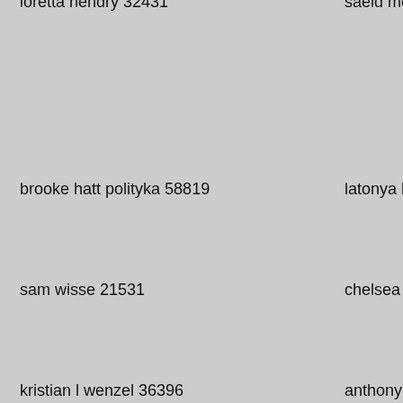loretta hendry 32431
saeid moshtaghi 76844
bitexkimnuz polong 5...
brooke hatt polityka 58819
latonya harding 55254
danielle stellner 82862
sam wisse 21531
chelsea peanut dimarco 35983
brendan moynihan 682...
kristian l wenzel 36396
anthony bamonte 14594
karl klappenbach 8441...
mel abalos 16338
ognjen civcic 91995
jimmy antuna 25925
adela moya 99944
mohd asri abdul ghani 24233
andre rippon 37335